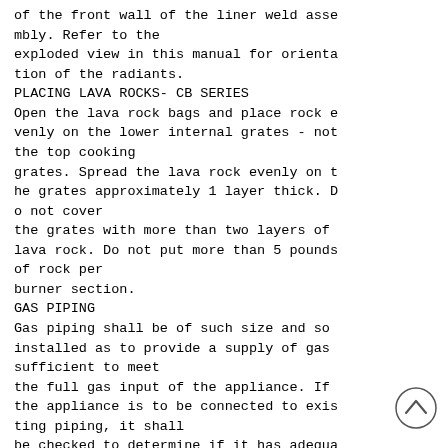of the front wall of the liner weld assembly. Refer to the exploded view in this manual for orientation of the radiants.
PLACING LAVA ROCKS- CB SERIES
Open the lava rock bags and place rock evenly on the lower internal grates - not the top cooking grates. Spread the lava rock evenly on the grates approximately 1 layer thick. Do not cover the grates with more than two layers of lava rock. Do not put more than 5 pounds of rock per burner section.
GAS PIPING
Gas piping shall be of such size and so installed as to provide a supply of gas sufficient to meet the full gas input of the appliance. If the appliance is to be connected to existing piping, it shall be checked to determine if it has adequate capacity. Joint compound shall be use d...